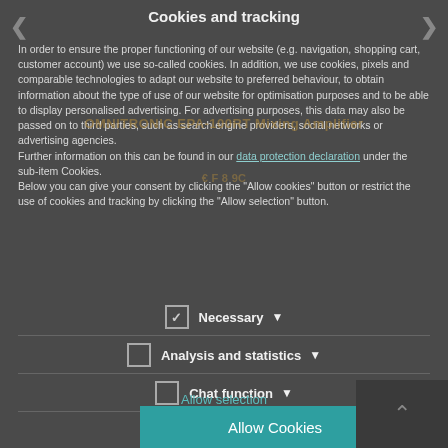Cookies and tracking
In order to ensure the proper functioning of our website (e.g. navigation, shopping cart, customer account) we use so-called cookies. In addition, we use cookies, pixels and comparable technologies to adapt our website to preferred behaviour, to obtain information about the type of use of our website for optimisation purposes and to be able to display personalised advertising. For advertising purposes, this data may also be passed on to third parties, such as search engine providers, social networks or advertising agencies.
Further information on this can be found in our data protection declaration under the sub-item Cookies.
Below you can give your consent by clicking the "Allow cookies" button or restrict the use of cookies and tracking by clicking the "Allow selection" button.
Necessary
Analysis and statistics
Chat function
Allow selection
Allow Cookies